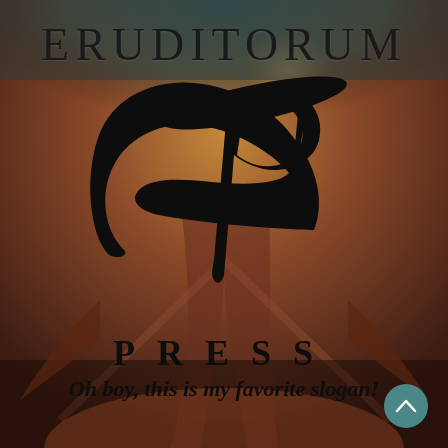[Figure (illustration): Background artwork: William Blake's Ancient of Days painting, showing a figure reaching downward with compasses, with dramatic reddish-brown tones blending into teal at the top]
ERUDITORUM
[Figure (logo): Stylized EP monogram logo in black calligraphic script]
PRESS
Oh boy, this is my favorite slogan!